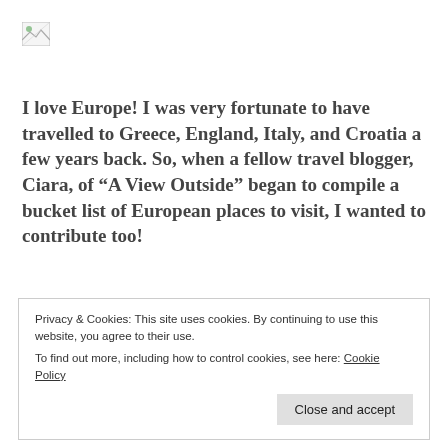[Figure (logo): Small broken/placeholder image icon in top-left corner]
I love Europe! I was very fortunate to have travelled to Greece, England, Italy, and Croatia a few years back. So, when a fellow travel blogger, Ciara, of “A View Outside” began to compile a bucket list of European places to visit, I wanted to contribute too!
Privacy & Cookies: This site uses cookies. By continuing to use this website, you agree to their use.
To find out more, including how to control cookies, see here: Cookie Policy
Close and accept